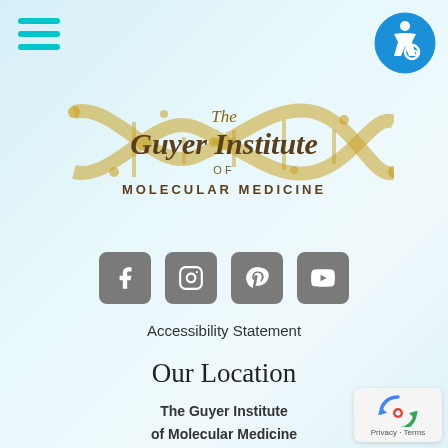[Figure (logo): Hamburger menu icon with three teal horizontal lines]
[Figure (logo): Accessibility icon - blue circle with wheelchair user symbol]
[Figure (logo): The Guyer Institute of Molecular Medicine logo with DNA double helix strand in gold]
[Figure (infographic): Four social media icon buttons (Facebook, Instagram, Pinterest, YouTube) in gray rounded squares]
Accessibility Statement
Our Location
The Guyer Institute of Molecular Medicine
836 East 86th Street
Indianapolis, IN 46240
317-580-9355
[Figure (logo): Google reCAPTCHA badge with Privacy and Terms links]